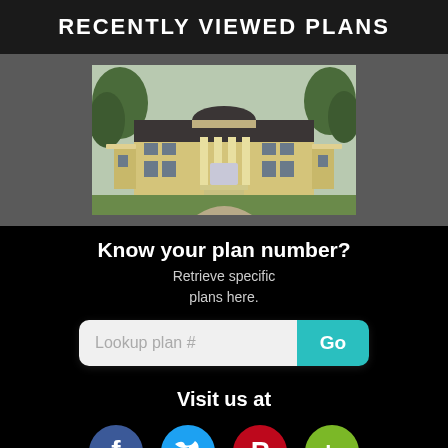RECENTLY VIEWED PLANS
[Figure (illustration): Rendering of a large neoclassical/colonial style house with columns, yellow brick, dark roof, surrounded by trees]
Know your plan number?
Retrieve specific plans here.
[Figure (screenshot): Search input field with placeholder 'Lookup plan #' and a teal Go button]
Visit us at
[Figure (infographic): Social media icons: Facebook (blue), Twitter (light blue), Pinterest (red), Houzz (green)]